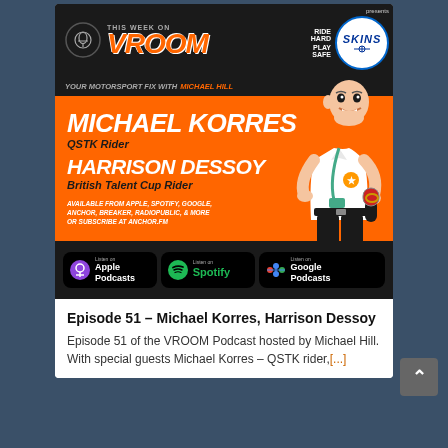[Figure (illustration): VROOM Podcast promotional image for Episode 51 featuring Michael Korres (QSTK Rider) and Harrison Dessoy (British Talent Cup Rider). Orange background with white bold italic text names, cartoon illustration of host Michael Hill holding microphone, Skins sponsor logo, podcast app download badges for Apple Podcasts, Spotify, and Google Podcasts.]
Episode 51 – Michael Korres, Harrison Dessoy
Episode 51 of the VROOM Podcast hosted by Michael Hill. With special guests Michael Korres – QSTK rider,[...]